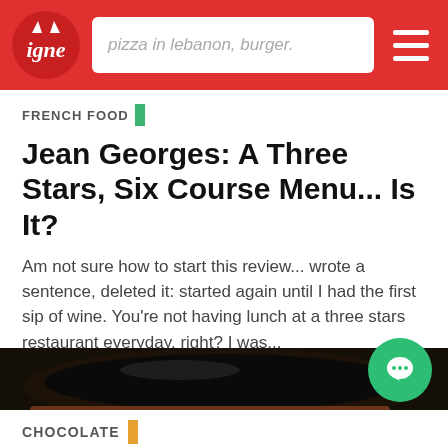pizza in lebanon, burger.
FRENCH FOOD
Jean Georges: A Three Stars, Six Course Menu... Is It?
Am not sure how to start this review... wrote a sentence, deleted it: started again until I had the first sip of wine. You're not having lunch at a three stars restaurant everyday, right? I was...
February 01, 2017 | Guide Michelin | New York
[Figure (photo): Close-up food photo of a dark glazed chocolate dessert or crepe on a plate]
CHOCOLATE